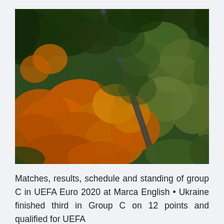[Figure (photo): Aerial drone view of an autumn forest with mixed orange, yellow, and dark green trees, with a winding road/path cutting diagonally through the dense canopy.]
Matches, results, schedule and standing of group C in UEFA Euro 2020 at Marca English • Ukraine finished third in Group C on 12 points and qualified for UEFA